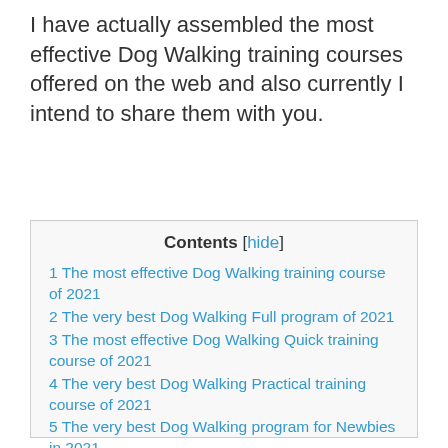I have actually assembled the most effective Dog Walking training courses offered on the web and also currently I intend to share them with you.
Contents [hide]
1 The most effective Dog Walking training course of 2021
2 The very best Dog Walking Full program of 2021
3 The most effective Dog Walking Quick training course of 2021
4 The very best Dog Walking Practical training course of 2021
5 The very best Dog Walking program for Newbies in 2021